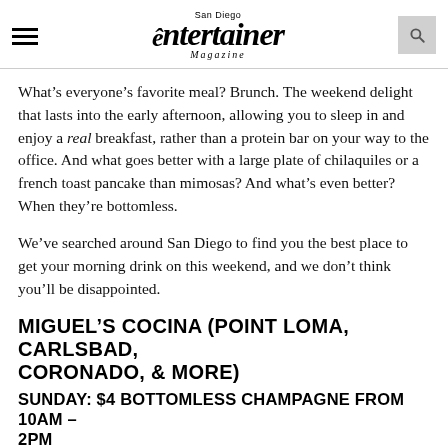San Diego Entertainer Magazine
What’s everyone’s favorite meal? Brunch. The weekend delight that lasts into the early afternoon, allowing you to sleep in and enjoy a real breakfast, rather than a protein bar on your way to the office. And what goes better with a large plate of chilaquiles or a french toast pancake than mimosas? And what’s even better? When they’re bottomless.
We’ve searched around San Diego to find you the best place to get your morning drink on this weekend, and we don’t think you’ll be disappointed.
MIGUEL’S COCINA (POINT LOMA, CARLSBAD, CORONADO, & MORE)
SUNDAY: $4 BOTTOMLESS CHAMPAGNE FROM 10AM – 2PM